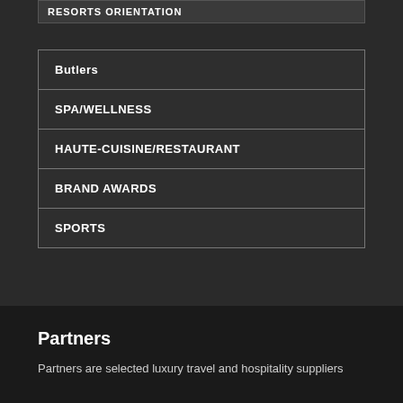RESORTS ORIENTATION
Butlers
SPA/WELLNESS
HAUTE-CUISINE/RESTAURANT
BRAND AWARDS
SPORTS
Partners
Partners are selected luxury travel and hospitality suppliers